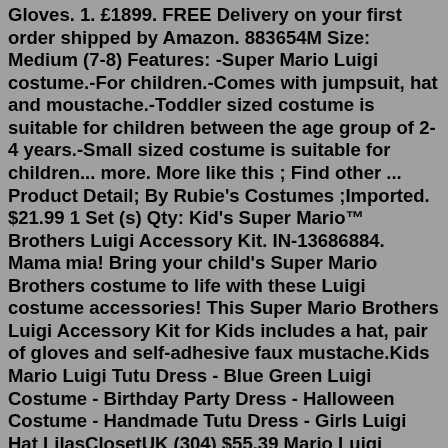Gloves. 1. £1899. FREE Delivery on your first order shipped by Amazon. 883654M Size: Medium (7-8) Features: -Super Mario Luigi costume.-For children.-Comes with jumpsuit, hat and moustache.-Toddler sized costume is suitable for children between the age group of 2-4 years.-Small sized costume is suitable for children... more. More like this ; Find other ... Product Detail; By Rubie's Costumes ;Imported. $21.99 1 Set (s) Qty: Kid's Super Mario™ Brothers Luigi Accessory Kit. IN-13686884. Mama mia! Bring your child's Super Mario Brothers costume to life with these Luigi costume accessories! This Super Mario Brothers Luigi Accessory Kit for Kids includes a hat, pair of gloves and self-adhesive faux mustache.Kids Mario Luigi Tutu Dress - Blue Green Luigi Costume - Birthday Party Dress - Halloween Costume - Handmade Tutu Dress - Girls Luigi Hat LilasClosetUK (304) $55.39 Mario Luigi original inspired tutu dress, Halloween costume, Mario Luigi costume, Mario party, Mario cosplay dress BoojaBooJaBee (71) $38.94 Our sexy Mario and Luigi